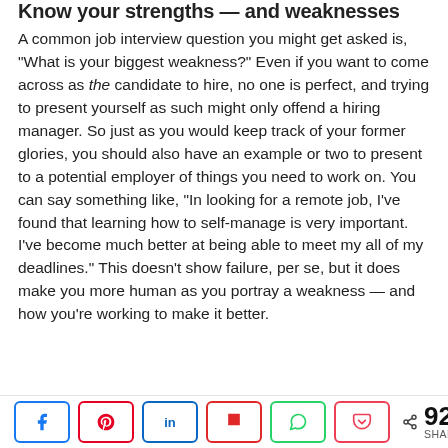Know your strengths — and weaknesses
A common job interview question you might get asked is, “What is your biggest weakness?” Even if you want to come across as the candidate to hire, no one is perfect, and trying to present yourself as such might only offend a hiring manager. So just as you would keep track of your former glories, you should also have an example or two to present to a potential employer of things you need to work on. You can say something like, “In looking for a remote job, I’ve found that learning how to self-manage is very important. I’ve become much better at being able to meet my all of my deadlines.” This doesn’t show failure, per se, but it does make you more human as you portray a weakness — and how you’re working to make it better.
Offer examples
[Figure (infographic): Social share bar with buttons for Facebook, Pinterest, LinkedIn, Flipboard, WhatsApp, Pocket, and a share count showing 923 SHARES]